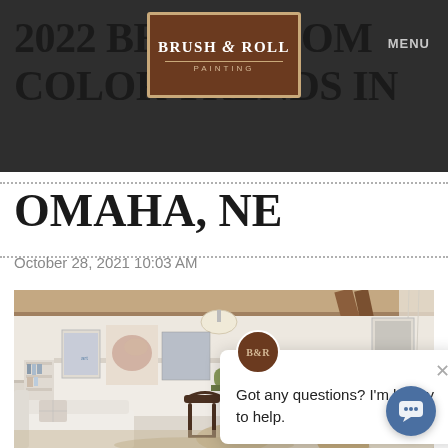2022 BEDROOM COLOR TRENDS IN
[Figure (logo): Brush & Roll Painting logo — brown rectangular badge with decorative border, serif text]
MENU
OMAHA, NE
October 28, 2021 10:03 AM
[Figure (photo): Interior living room photo with white walls, wooden ceiling beams, white furniture, black bentwood chairs, art on walls, pendant lamp, and warm wood floors]
Got any questions? I'm happy to help.